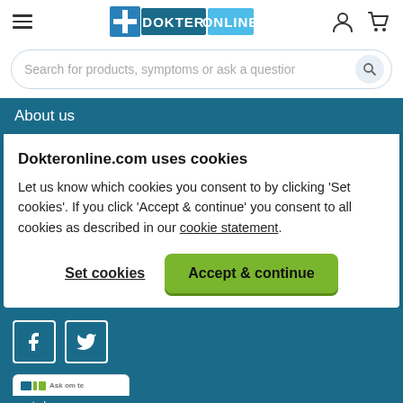[Figure (logo): Dokter Online logo with blue cross and blue/white text banner]
Search for products, symptoms or ask a question
About us
Dokteronline.com uses cookies
Let us know which cookies you consent to by clicking 'Set cookies'. If you click 'Accept & continue' you consent to all cookies as described in our cookie statement.
Set cookies
Accept & continue
[Figure (logo): Facebook icon square]
[Figure (logo): Twitter icon square]
Back to top ∧
Ask om te controleren